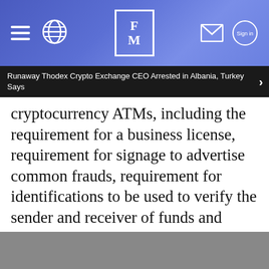[Figure (screenshot): Finance Magnates mobile app header bar with hamburger menu, globe icon, FM logo, mail icon, and sign-in button on a blue gradient background]
Runaway Thodex Crypto Exchange CEO Arrested in Albania, Turkey Says
cryptocurrency ATMs, including the requirement for a business license, requirement for signage to advertise common frauds, requirement for identifications to be used to verify the sender and receiver of funds and requirement of security features.”
ADVERTISEMENT